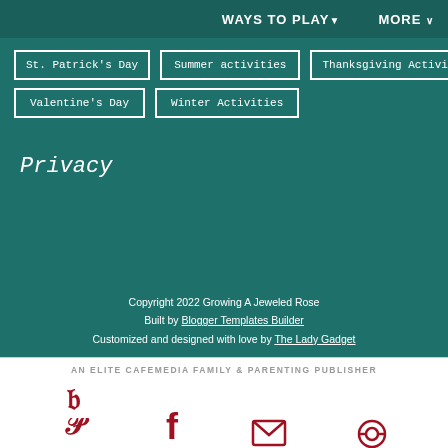WAYS TO PLAY▼   MORE ∨
St. Patrick's Day
Summer activities
Thanksgiving Activities
Valentine's Day
Winter Activities
Privacy
Copyright 2022 Growing A Jeweled Rose
Built by Blogger Templates Builder
Customized and designed with love by The Lady Gadget
AN ELITE CAFEMEDIA FAMILY & PARENTING PUBLISHER
1.05k